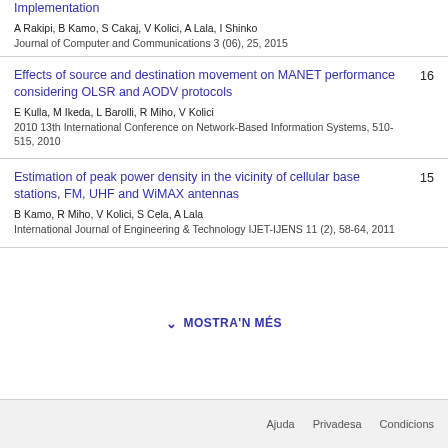Implementation
A Rakipi, B Kamo, S Cakaj, V Kolici, A Lala, I Shinko
Journal of Computer and Communications 3 (06), 25, 2015
Effects of source and destination movement on MANET performance considering OLSR and AODV protocols
E Kulla, M Ikeda, L Barolli, R Miho, V Kolici
2010 13th International Conference on Network-Based Information Systems, 510-515, 2010
16
Estimation of peak power density in the vicinity of cellular base stations, FM, UHF and WiMAX antennas
B Kamo, R Miho, V Kolici, S Cela, A Lala
International Journal of Engineering & Technology IJET-IJENS 11 (2), 58-64, 2011
15
MOSTRA'N MÉS
Ajuda  Privadesa  Condicions